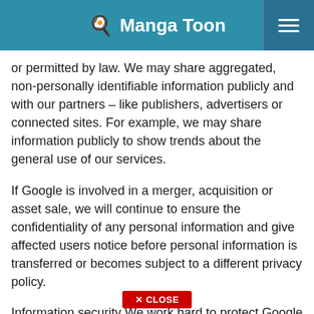Manga Toon
or permitted by law. We may share aggregated, non-personally identifiable information publicly and with our partners – like publishers, advertisers or connected sites. For example, we may share information publicly to show trends about the general use of our services.
If Google is involved in a merger, acquisition or asset sale, we will continue to ensure the confidentiality of any personal information and give affected users notice before personal information is transferred or becomes subject to a different privacy policy.
Information security We work hard to protect Google and our users from unauthorized access to or unauthorized alteration, disclosure or destruction of information we hold. In particular: